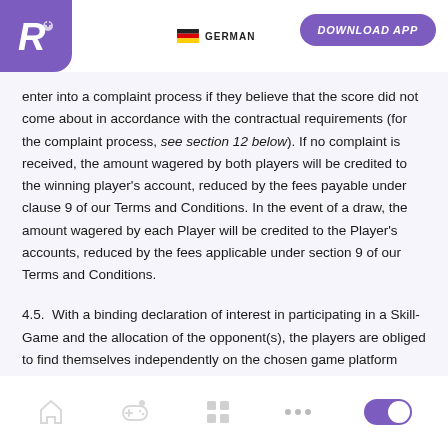GERMAN | DOWNLOAD APP
enter into a complaint process if they believe that the score did not come about in accordance with the contractual requirements (for the complaint process, see section 12 below). If no complaint is received, the amount wagered by both players will be credited to the winning player's account, reduced by the fees payable under clause 9 of our Terms and Conditions. In the event of a draw, the amount wagered by each Player will be credited to the Player's accounts, reduced by the fees applicable under section 9 of our Terms and Conditions.
4.5.  With a binding declaration of interest in participating in a Skill-Game and the allocation of the opponent(s), the players are obliged to find themselves independently on the chosen game platform within the time period defined in the rules of conduct, to start the chosen game and to ensure that the game is streamed via the streaming channel linked to their own Rawbet
Navigation bar with home, game, grid, dots, toggle icons